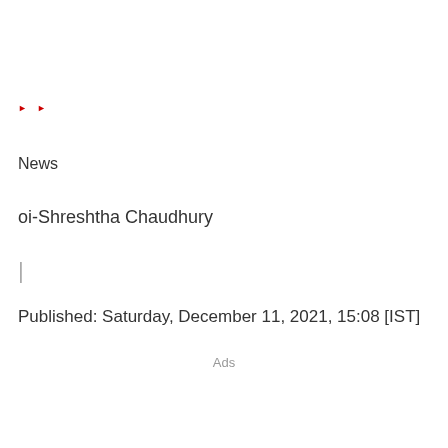▶ ▶
News
oi-Shreshtha Chaudhury
|
Published: Saturday, December 11, 2021, 15:08 [IST]
Ads